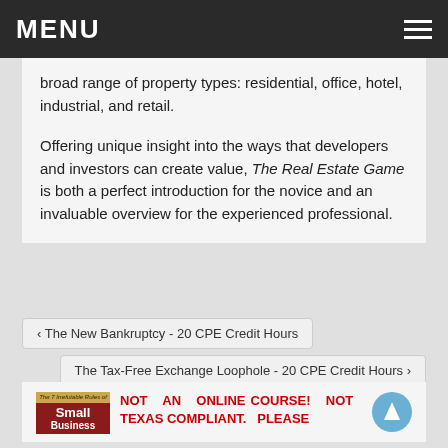MENU
broad range of property types: residential, office, hotel, industrial, and retail.
Offering unique insight into the ways that developers and investors can create value, The Real Estate Game is both a perfect introduction for the novice and an invaluable overview for the experienced professional.
< The New Bankruptcy - 20 CPE Credit Hours
The Tax-Free Exchange Loophole - 20 CPE Credit Hours >
[Figure (illustration): Book cover for 'The 7 Irrefutable Rules of Small Business' with a dark red and gold design]
NOT AN ONLINE COURSE! NOT TEXAS COMPLIANT. PLEASE